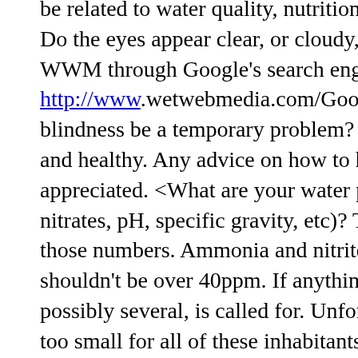be related to water quality, nutrition, infection, any number. Do the eyes appear clear, or cloudy, etc?  Please read FAQ's WWM through Google's search engine. Just type in 'blind c http://www.wetwebmedia.com/Googlesearch.htm > Could blindness be a temporary problem? <Could be.> My other f and healthy. Any advice on how to help my blind fish woul appreciated. <What are your water parameters (ammonia, n nitrates, pH, specific gravity, etc)? The first thing I would d those numbers. Ammonia and nitrites should be zero and ni shouldn't be over 40ppm. If anything is amiss, then a water possibly several, is called for. Unfortunately, a ten gallon ta too small for all of these inhabitants. Consider that the rule one cubic inch of fish/life to every five gallons of water anc to see what I mean. You also have to factor in the existing n substrate. You may only have 8 or so actual gallons of wate Small, "nano" tanks can be wonderful, but they can be a bic to keep stable. Please read the information at these links: http://www.wetwebmedia.com/clnsysfaqs.htm. http://www.wetwebmedia.com/smmarsys.htm > Thanks Ka most welcome and I hope your little fishie gets better! -Ly